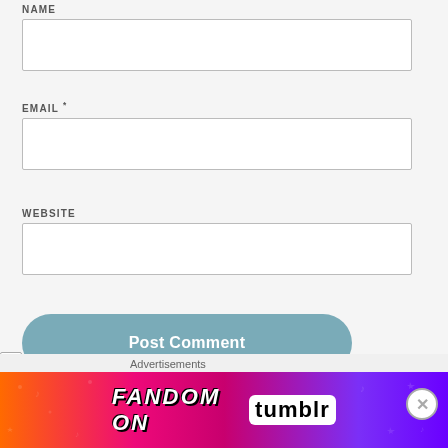NAME
[Figure (other): Empty text input box for NAME field]
EMAIL *
[Figure (other): Empty text input box for EMAIL field]
WEBSITE
[Figure (other): Empty text input box for WEBSITE field]
[Figure (other): Post Comment button - rounded blue-gray button]
Advertisements
[Figure (other): Fandom on Tumblr advertisement banner with orange to purple gradient]